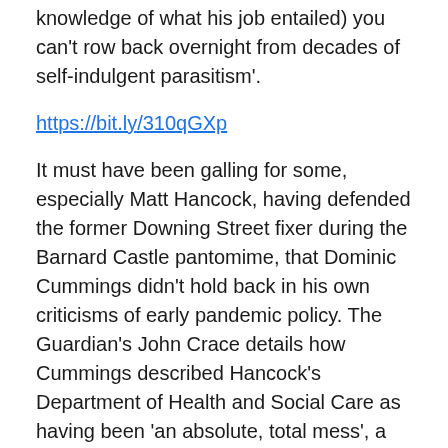knowledge of what his job entailed) you can't row back overnight from decades of self-indulgent parasitism'.
https://bit.ly/310qGXp
It must have been galling for some, especially Matt Hancock, having defended the former Downing Street fixer during the Barnard Castle pantomime, that Dominic Cummings didn't hold back in his own criticisms of early pandemic policy. The Guardian's John Crace details how Cummings described Hancock's Department of Health and Social Care as having been 'an absolute, total mess', a 'smoking ruin' in the aftermath of its failure to provide enough PPE. He said this is why he and Patrick Vallance (no mention of the PM!) had insisted that the vaccine programme be taken out of Hancock's hands. Heading up the Downing Street press briefing later, 'Door Matt also